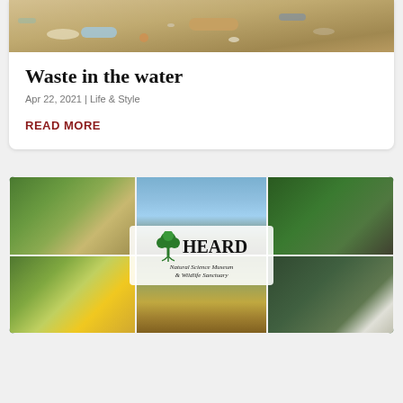[Figure (photo): Top portion of a beach/sandy surface with debris and waste visible — plastic bottles and litter on sand, partially cropped at top]
Waste in the water
Apr 22, 2021 | Life & Style
READ MORE
[Figure (photo): Collage of nature photos from Heard Natural Science Museum & Wildlife Sanctuary: wooden boardwalk path through green field, lake/river reflection, forest boardwalk, yellow bird on branch, dirt trail through field, white egret in trees. HEARD Natural Science Museum & Wildlife Sanctuary logo overlaid in center.]